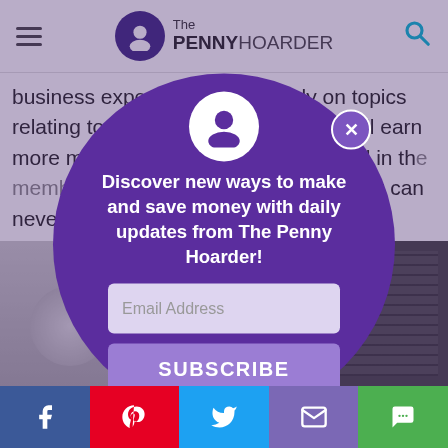The PENNY HOARDER
business experience, particularly on topics relating to women entrepreneurs. You'll earn more money if your article is published in the members-only print newsletter, though it can never be republished elsewhere.
Pay: $50-$150 per blog post.
Categories: business, finance, marketing
[Figure (screenshot): Popup modal overlay on The Penny Hoarder website with email subscription form. Purple circle with avatar icon, close button (X), headline 'Discover new ways to make and save money with daily updates from The Penny Hoarder!', email address input field, and SUBSCRIBE button.]
Social share buttons: Facebook, Pinterest, Twitter, Email, Chat